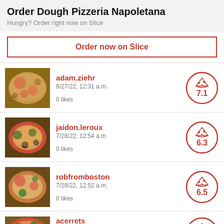Order Dough Pizzeria Napoletana
Hungry? Order right now on Slice
Order now on Slice
[Figure (photo): Pizza photo thumbnail for adam.ziehr review]
adam.ziehr
8/27/22, 12:31 a.m.
0 likes
[Figure (infographic): Pizza slice icon rating circle showing 7.1]
[Figure (photo): Pizza photo thumbnail for jaidon.leroux review]
jaidon.leroux
7/28/22, 12:54 a.m.
0 likes
[Figure (infographic): Pizza slice icon rating circle showing 6.3]
[Figure (photo): Pizza photo thumbnail for robfromboston review]
robfromboston
7/28/22, 12:52 a.m.
0 likes
[Figure (infographic): Pizza slice icon rating circle showing 6.5]
[Figure (photo): Pizza photo thumbnail for acerrets review]
acerrets
7/28/22, 12:47 a.m.